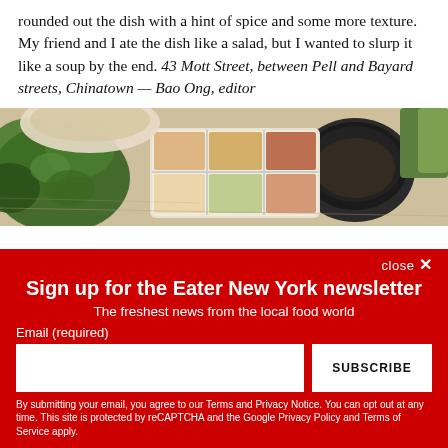rounded out the dish with a hint of spice and some more texture. My friend and I ate the dish like a salad, but I wanted to slurp it like a soup by the end. 43 Mott Street, between Pell and Bayard streets, Chinatown — Bao Ong, editor
[Figure (photo): Food photography showing a Korean/Asian spread of dishes including herbs, condiments in a divided tray, and a dark bowl on a white textured table.]
close ✕
Sign up for the Eater New York newsletter
The freshest news from the local food world
Email (required)
SUBSCRIBE
By submitting your email, you agree to our Terms and Privacy Notice. You can opt out at any time. This site is protected by reCAPTCHA and the Google Privacy Policy and Terms of Service apply.